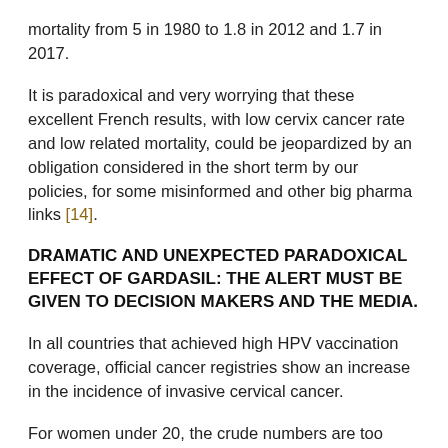mortality from 5 in 1980 to 1.8 in 2012 and 1.7 in 2017.
It is paradoxical and very worrying that these excellent French results, with low cervix cancer rate and low related mortality, could be jeopardized by an obligation considered in the short term by our policies, for some misinformed and other big pharma links [14].
DRAMATIC AND UNEXPECTED PARADOXICAL EFFECT OF GARDASIL: THE ALERT MUST BE GIVEN TO DECISION MAKERS AND THE MEDIA.
In all countries that achieved high HPV vaccination coverage, official cancer registries show an increase in the incidence of invasive cervical cancer.
For women under 20, the crude numbers are too small to reach statistical significance, but the similar increases in all the studied countries constitutes a strong alarm signal.